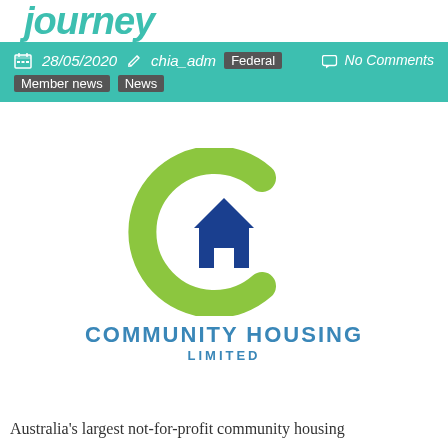journey
28/05/2020   chia_adm   Federal   Member news   News   No Comments
[Figure (logo): Community Housing Limited logo: green C-shaped arc with blue house silhouette inside]
Australia's largest not-for-profit community housing